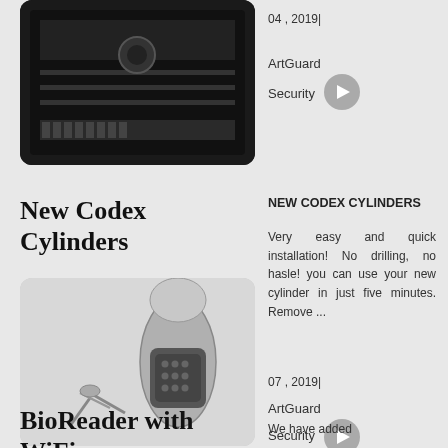[Figure (photo): Electronic security controller board with circuit board components, dark background, shown at top of page (partial)]
04 , 2019|
ArtGuard Security
New Codex Cylinders
[Figure (photo): Codex cylinder lock product photo showing a metallic door cylinder with keypad and keys on a light background]
NEW CODEX CYLINDERS
Very easy and quick installation! No drilling, no hasle! you can use your new cylinder in just five minutes. Remove ...
07 , 2019|
ArtGuard Security
BioReader with WiFi
We have added